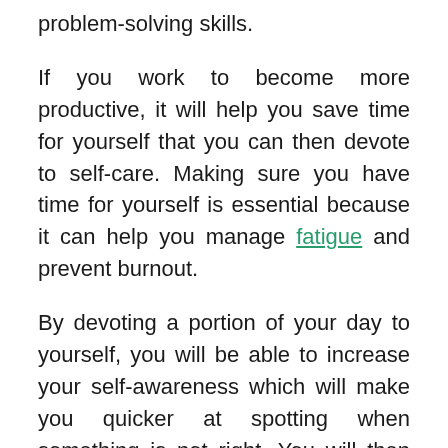problem-solving skills.
If you work to become more productive, it will help you save time for yourself that you can then devote to self-care. Making sure you have time for yourself is essential because it can help you manage fatigue and prevent burnout.
By devoting a portion of your day to yourself, you will be able to increase your self-awareness which will make you quicker at spotting when something is not right. You will then have time to assess your situation and come up with imaginative solutions to problems.
You'll create more opportunities for yourself